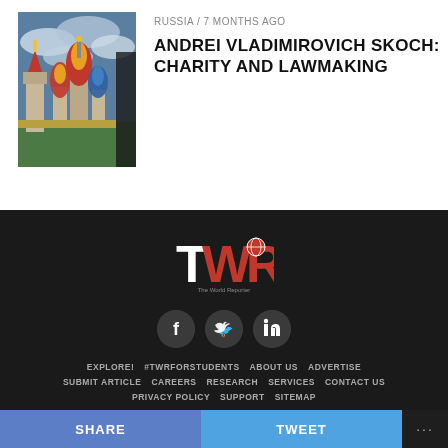[Figure (photo): Photo of Moscow Red Square with Saint Basil's Cathedral and Kremlin Tower against a dramatic cloudy sky]
RUSSIA / 7 months ago
ANDREI VLADIMIROVICH SKOCH: CHARITY AND LAWMAKING
[Figure (logo): TWR - The World Reporter logo with red and black lettering]
[Figure (infographic): Social media icons: Facebook, Twitter, LinkedIn]
EXPLORE! #TWRFORSTUDENTS ABOUT US ADVERTISE SUBMIT ARTICLE CAREERS RESEARCH SERVICES CONTACT US PRIVACY POLICY SUPPORT SITEMAP
SHARE  TWEET  ...